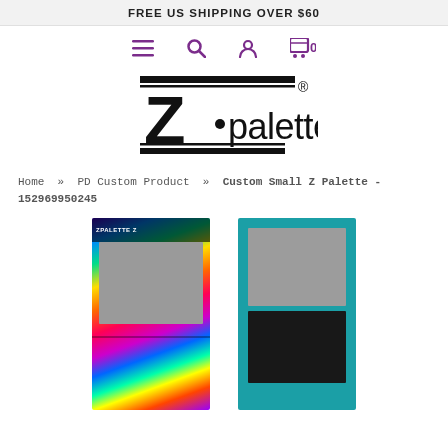FREE US SHIPPING OVER $60
[Figure (screenshot): Navigation icon row with hamburger menu, search, user account, and shopping cart with 0 items, in purple/dark color]
[Figure (logo): Z.palette brand logo in black with registered trademark symbol]
Home » PD Custom Product » Custom Small Z Palette - 152969950245
[Figure (photo): Two Z Palette product images: left one has colorful rainbow rose design with gray image slot, right one is teal/turquoise with two gray/dark image slots]